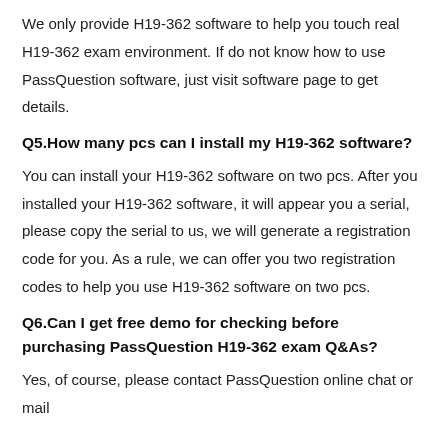We only provide H19-362 software to help you touch real H19-362 exam environment. If do not know how to use PassQuestion software, just visit software page to get details.
Q5.How many pcs can I install my H19-362 software?
You can install your H19-362 software on two pcs. After you installed your H19-362 software, it will appear you a serial, please copy the serial to us, we will generate a registration code for you. As a rule, we can offer you two registration codes to help you use H19-362 software on two pcs.
Q6.Can I get free demo for checking before purchasing PassQuestion H19-362 exam Q&As?
Yes, of course, please contact PassQuestion online chat or mail